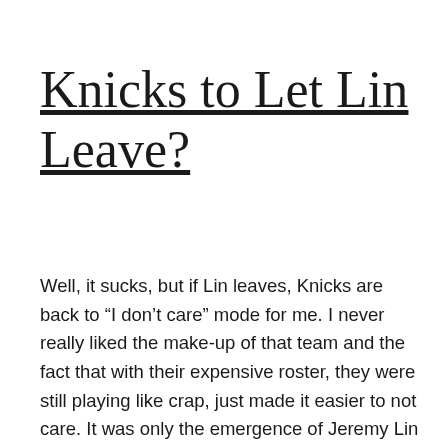Knicks to Let Lin Leave?
Well, it sucks, but if Lin leaves, Knicks are back to “I don’t care” mode for me. I never really liked the make-up of that team and the fact that with their expensive roster, they were still playing like crap, just made it easier to not care. It was only the emergence of Jeremy Lin […]